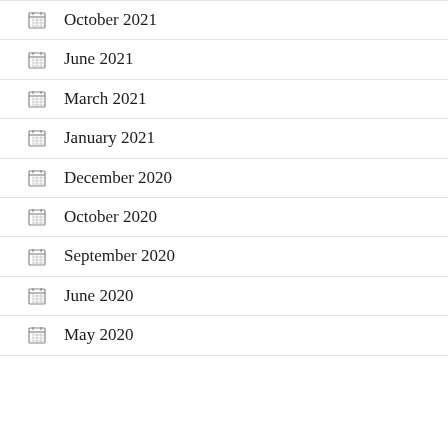October 2021
June 2021
March 2021
January 2021
December 2020
October 2020
September 2020
June 2020
May 2020